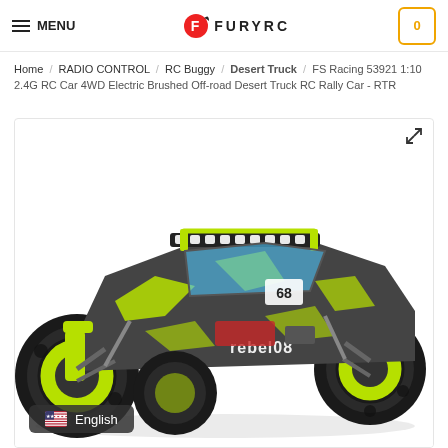MENU | FURYRC | Cart: 0
Home / RADIO CONTROL / RC Buggy / Desert Truck / FS Racing 53921 1:10 2.4G RC Car 4WD Electric Brushed Off-road Desert Truck RC Rally Car - RTR
[Figure (photo): Green and black FS Racing 53921 1:10 scale RC desert truck (number 68, branded REBEL08) with large off-road tires and light bar on top, shown at an angle on a white background.]
English